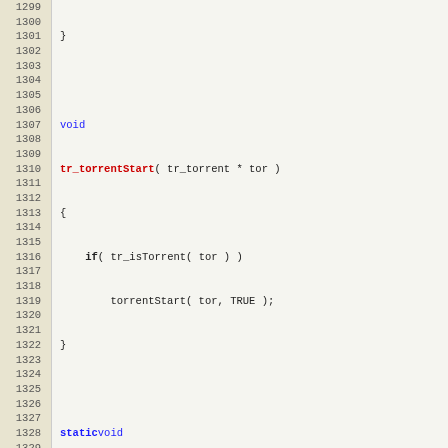[Figure (screenshot): Source code listing in C showing functions tr_torrentStart, torrentRecheckDoneImpl, and torrentRecheckDoneCB with line numbers 1299-1330]